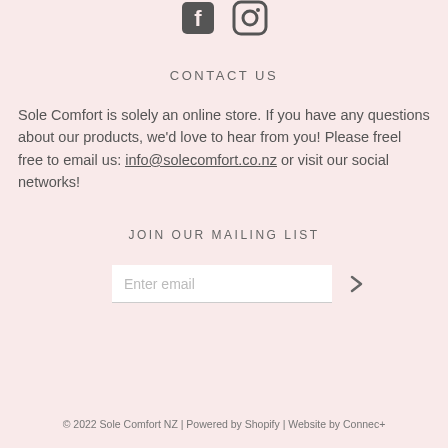[Figure (illustration): Facebook and Instagram social media icons side by side]
CONTACT US
Sole Comfort is solely an online store. If you have any questions about our products, we'd love to hear from you! Please freel free to email us: info@solecomfort.co.nz or visit our social networks!
JOIN OUR MAILING LIST
Enter email
© 2022 Sole Comfort NZ | Powered by Shopify | Website by Connec+